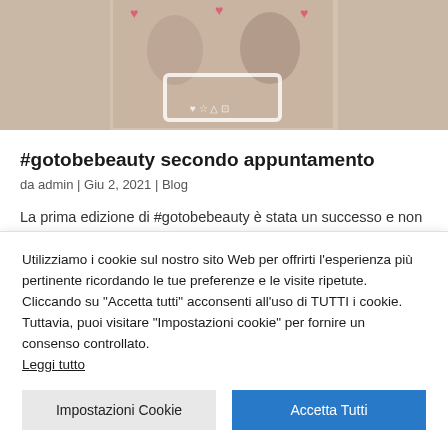[Figure (photo): Photo of people holding an Instagram-style frame prop at an event]
#gotobebeauty secondo appuntamento
da admin | Giu 2, 2021 | Blog
La prima edizione di #gotobebeauty è stata un successo e non tutti hanno potuto partecipare poichè l'evento è andato sold out in pochi giorni. Vista la
Utilizziamo i cookie sul nostro sito Web per offrirti l'esperienza più pertinente ricordando le tue preferenze e le visite ripetute. Cliccando su "Accetta tutti" acconsenti all'uso di TUTTI i cookie. Tuttavia, puoi visitare "Impostazioni cookie" per fornire un consenso controllato. Leggi tutto
Impostazioni Cookie
Accetta Tutti